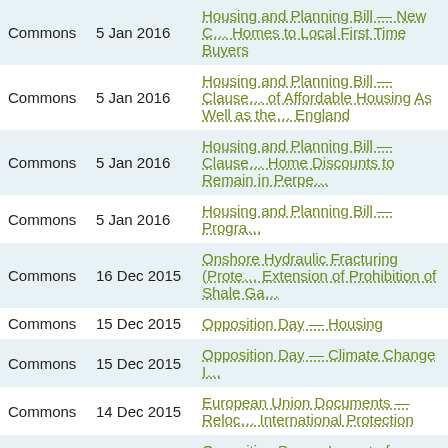| House | Date | Title |
| --- | --- | --- |
| Commons | 5 Jan 2016 | Housing and Planning Bill — New C… Homes to Local First Time Buyers |
| Commons | 5 Jan 2016 | Housing and Planning Bill — Clause… of Affordable Housing As Well as the… England |
| Commons | 5 Jan 2016 | Housing and Planning Bill — Clause… Home Discounts to Remain in Perpe… |
| Commons | 5 Jan 2016 | Housing and Planning Bill — Progra… |
| Commons | 16 Dec 2015 | Onshore Hydraulic Fracturing (Prote… Extension of Prohibition of Shale Ga… |
| Commons | 15 Dec 2015 | Opposition Day — Housing |
| Commons | 15 Dec 2015 | Opposition Day — Climate Change I… |
| Commons | 14 Dec 2015 | European Union Documents — Reloc… International Protection |
| Commons | 9 Dec 2015 | Opposition Day — Impact of Policies… |
| Commons | 9 Dec 2015 | Opposition Day — Mental Health |
| Commons | 8 Dec 2015 | Prum Convention — Data Sharing w… Combat Crime and Terrorism |
| Commons | 8 Dec 2015 | European Union Referendum Bill —… the Referendum — Those Aged Sixt… |
| Commons | 7 Dec 2015 | Cities and Local Government Devol… |